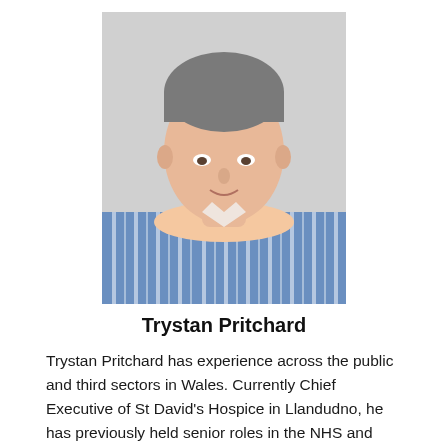[Figure (photo): Headshot photograph of Trystan Pritchard, a middle-aged man with short grey-brown hair, wearing a blue and white striped shirt, photographed against a light grey background.]
Trystan Pritchard
Trystan Pritchard has experience across the public and third sectors in Wales. Currently Chief Executive of St David's Hospice in Llandudno, he has previously held senior roles in the NHS and Local Government. His areas of expertise include public engagement and